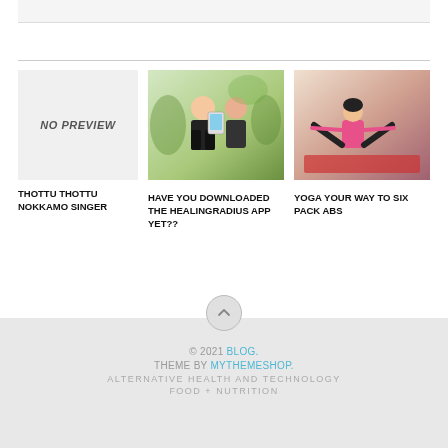[Figure (screenshot): Top gray bar area]
[Figure (photo): No preview placeholder box with italic bold text NO PREVIEW]
THOTTU THOTTU NOKKAMO SINGER
[Figure (photo): Two women sitting outdoors, one on phone, yoga/wellness app context]
HAVE YOU DOWNLOADED THE HEALINGRADIUS APP YET??
[Figure (photo): Woman in pink top doing yoga boat pose on red mat]
YOGA YOUR WAY TO SIX PACK ABS
© 2021 BLOG. THEME BY MYTHEMESHOP. ALTERNATIVE HEALTH AND TECHNOLOGY FOOD + NUTRITION